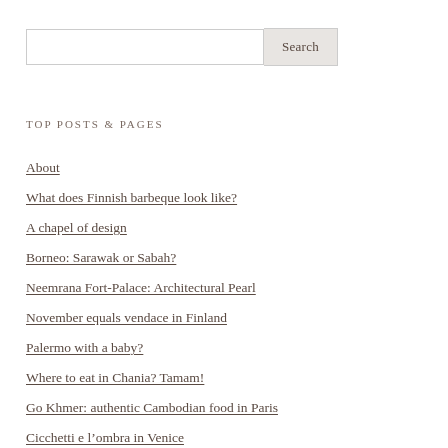[Figure (other): Search input box with Search button]
TOP POSTS & PAGES
About
What does Finnish barbeque look like?
A chapel of design
Borneo: Sarawak or Sabah?
Neemrana Fort-Palace: Architectural Pearl
November equals vendace in Finland
Palermo with a baby?
Where to eat in Chania? Tamam!
Go Khmer: authentic Cambodian food in Paris
Cicchetti e l’ombra in Venice